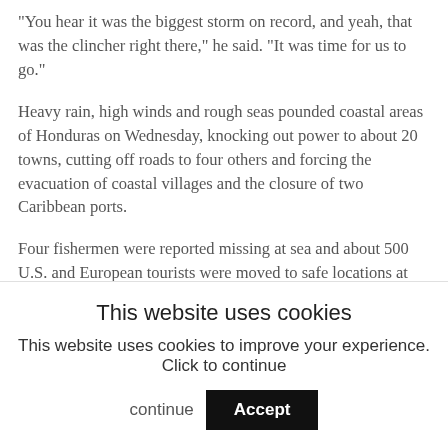&#34You hear it was the biggest storm on record, and yeah, that was the clincher right there,&#34 he said. &#34It was time for us to go.&#34
Heavy rain, high winds and rough seas pounded coastal areas of Honduras on Wednesday, knocking out power to about 20 towns, cutting off roads to four others and forcing the evacuation of coastal villages and the closure of two Caribbean ports.
Four fishermen were reported missing at sea and about 500 U.S. and European tourists were moved to safe locations at hotels on Honduras” Bay Islands.
The head of Haiti”s civil protection agency, Maria Alta Jean-Baptiste, said that at least 12 people had died in
This website uses cookies
This website uses cookies to improve your experience. Click to continue
Accept